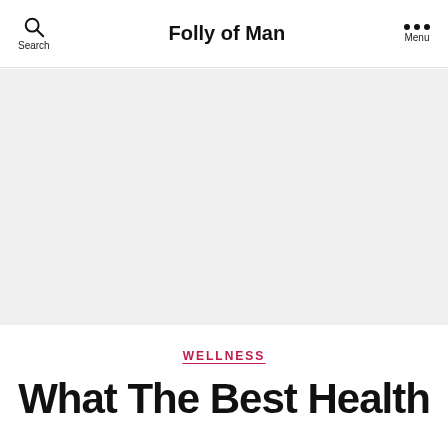Folly of Man
[Figure (photo): Large light gray hero image placeholder area below the navigation bar]
WELLNESS
What The Best Health